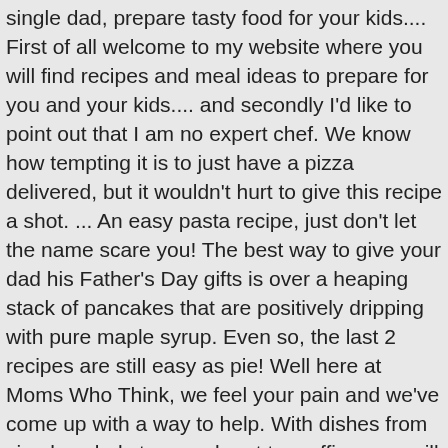single dad, prepare tasty food for your kids.... First of all welcome to my website where you will find recipes and meal ideas to prepare for you and your kids.... and secondly I'd like to point out that I am no expert chef. We know how tempting it is to just have a pizza delivered, but it wouldn't hurt to give this recipe a shot. ... An easy pasta recipe, just don't let the name scare you! The best way to give your dad his Father's Day gifts is over a heaping stack of pancakes that are positively dripping with pure maple syrup. Even so, the last 2 recipes are still easy as pie! Well here at Moms Who Think, we feel your pain and we've come up with a way to help. With dishes from simple salads to sauerkraut to muffins, you will find these straightforward and easy recipes a real help for dads … 23 Ridiculously Easy Recipes For People Who Can't Cook. He had to pull out the instruction manual to turn on the stove. Ready? 770-570-9901 Salvatore's Single Fathers' Kitchen. Really! There are plenty of slow cooker recipes that involve as much prep as any other stovetop or oven-cooked meal. On April 1, 2019 by Kim. As this